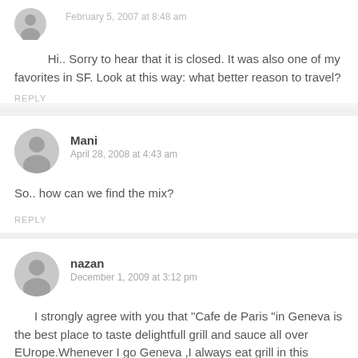February 5, 2007 at 8:48 am
Hi.. Sorry to hear that it is closed. It was also one of my favorites in SF. Look at this way: what better reason to travel?
REPLY
Mani
April 28, 2008 at 4:43 am
So.. how can we find the mix?
REPLY
nazan
December 1, 2009 at 3:12 pm
I strongly agree with you that "Cafe de Paris "in Geneva is the best place to taste delightfull grill and sauce all over EUrope.Whenever I go Geneva ,I always eat grill in this place.Menü is always same and simple..Entrecote, salat